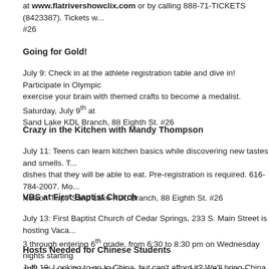at www.flatrivershowclix.com or by calling 888-71-TICKETS (8423387). Tickets w... #26
Going for Gold!
July 9: Check in at the athlete registration table and dive in! Participate in Olympic... exercise your brain with themed crafts to become a medalist. Saturday, July 9th at Sand Lake KDL Branch, 88 Eighth St. #26
Crazy in the Kitchen with Mandy Thompson
July 11: Teens can learn kitchen basics while discovering new tastes and smells. T... dishes that they will be able to eat. Pre-registration is required. 616-784-2007. Mo... Nelson Twp./ Sand Lake KDL Branch, 88 Eighth St. #26
VBS at First Baptist Church
July 13: First Baptist Church of Cedar Springs, 233 S. Main Street is hosting Vaca... 3 through entering 6th grade, from 6:30 to 8:30 pm on Wednesday nights starting... 10th. "Ready, Set, Climb!" takes students on a hiking adventure where they will st... book of John and discover what it looks like to follow Jesus every step of the way... the church office at office@csfbc.com or 616-696-1630. #26
Hosts Needed for Chinese Students
July 19: Looking to go to China, but can't afford it? We'll bring China to you. Netw...